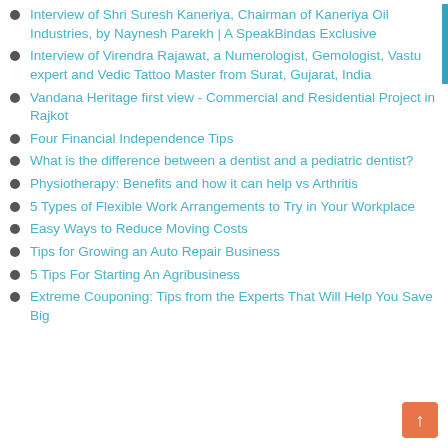Interview of Shri Suresh Kaneriya, Chairman of Kaneriya Oil Industries, by Naynesh Parekh | A SpeakBindas Exclusive
Interview of Virendra Rajawat, a Numerologist, Gemologist, Vastu expert and Vedic Tattoo Master from Surat, Gujarat, India
Vandana Heritage first view - Commercial and Residential Project in Rajkot
Four Financial Independence Tips
What is the difference between a dentist and a pediatric dentist?
Physiotherapy: Benefits and how it can help vs Arthritis
5 Types of Flexible Work Arrangements to Try in Your Workplace
Easy Ways to Reduce Moving Costs
Tips for Growing an Auto Repair Business
5 Tips For Starting An Agribusiness
Extreme Couponing: Tips from the Experts That Will Help You Save Big